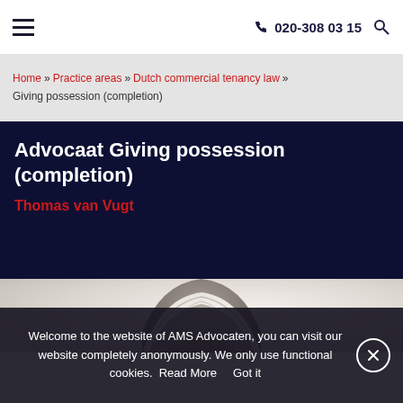020-308 03 15
Home » Practice areas » Dutch commercial tenancy law » Giving possession (completion)
Advocaat Giving possession (completion)
Thomas van Vugt
[Figure (photo): Portrait photo of Thomas van Vugt, showing the top of a man's head with grey-white hair against a light blurred background]
Welcome to the website of AMS Advocaten, you can visit our website completely anonymously. We only use functional cookies.  Read More     Got it